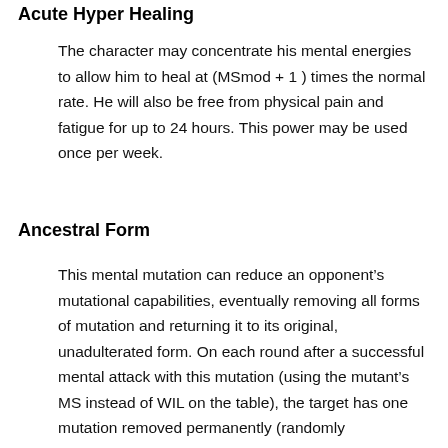Acute Hyper Healing
The character may concentrate his mental energies to allow him to heal at (MSmod + 1 ) times the normal rate. He will also be free from physical pain and fatigue for up to 24 hours. This power may be used once per week.
Ancestral Form
This mental mutation can reduce an opponent’s mutational capabilities, eventually removing all forms of mutation and returning it to its original, unadulterated form. On each round after a successful mental attack with this mutation (using the mutant’s MS instead of WIL on the table), the target has one mutation removed permanently (randomly determined), until none are left. Rarely (5%), this